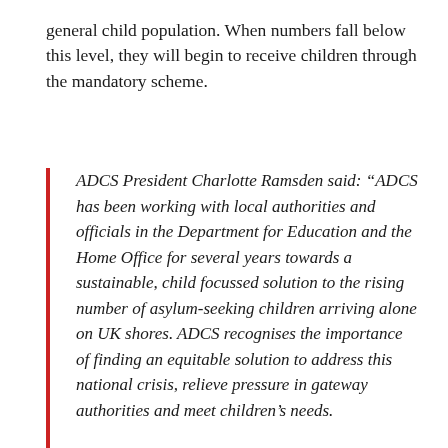general child population. When numbers fall below this level, they will begin to receive children through the mandatory scheme.
ADCS President Charlotte Ramsden said: “ADCS has been working with local authorities and officials in the Department for Education and the Home Office for several years towards a sustainable, child focussed solution to the rising number of asylum-seeking children arriving alone on UK shores. ADCS recognises the importance of finding an equitable solution to address this national crisis, relieve pressure in gateway authorities and meet children’s needs.
“Many hundreds of children have already been settled across the country via the voluntary National Transfer Scheme and we want that to continue…